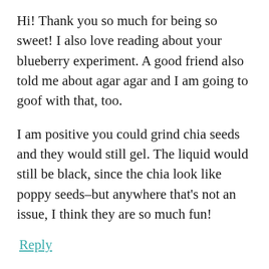Hi! Thank you so much for being so sweet! I also love reading about your blueberry experiment. A good friend also told me about agar agar and I am going to goof with that, too.
I am positive you could grind chia seeds and they would still gel. The liquid would still be black, since the chia look like poppy seeds–but anywhere that’s not an issue, I think they are so much fun!
Reply